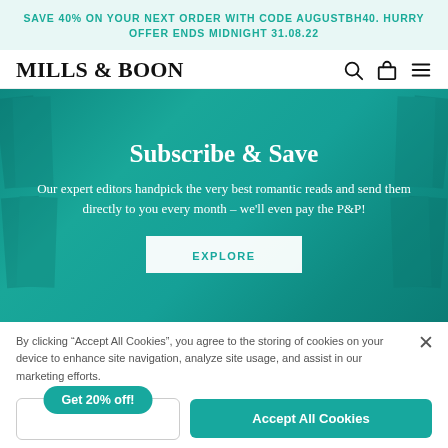SAVE 40% ON YOUR NEXT ORDER WITH CODE AUGUSTBH40. HURRY OFFER ENDS MIDNIGHT 31.08.22
MILLS & BOON
[Figure (screenshot): Mills & Boon website hero section with teal background showing book covers, title 'Subscribe & Save', promotional text, and EXPLORE button]
By clicking "Accept All Cookies", you agree to the storing of cookies on your device to enhance site navigation, analyze site usage, and assist in our marketing efforts.
Get 20% off!
Accept All Cookies